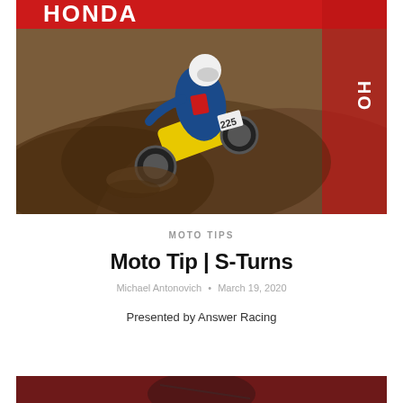[Figure (photo): Motocross rider on a yellow Suzuki dirt bike navigating a dirt berm turn at a racing event, Honda banner visible in background, rider wearing blue and red racing gear with white helmet]
MOTO TIPS
Moto Tip | S-Turns
Michael Antonovich • March 19, 2020
Presented by Answer Racing
[Figure (photo): Partial view of a second motocross photo, bottom of page, dark red background visible]